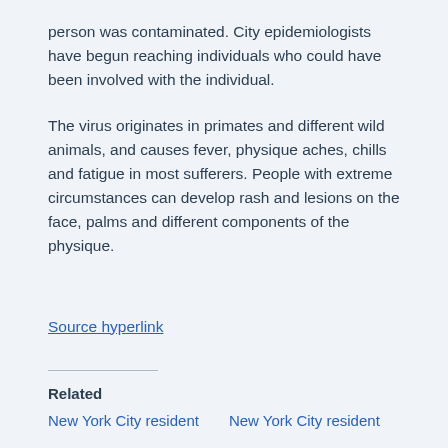person was contaminated. City epidemiologists have begun reaching individuals who could have been involved with the individual.
The virus originates in primates and different wild animals, and causes fever, physique aches, chills and fatigue in most sufferers. People with extreme circumstances can develop rash and lesions on the face, palms and different components of the physique.
Source hyperlink
Related
New York City resident   New York City resident